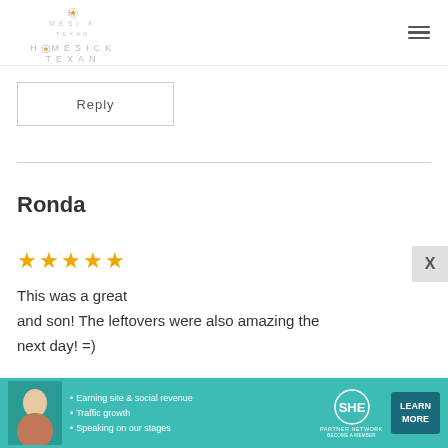HOMESICK TEXAN
Reply
Ronda
★★★★★
This was a great and son! The leftovers were also amazing the next day! =)
[Figure (screenshot): SHE Partner Network advertisement banner with bullet points: Earning site & social revenue, Traffic growth, Speaking on our stages. Includes LEARN MORE button.]